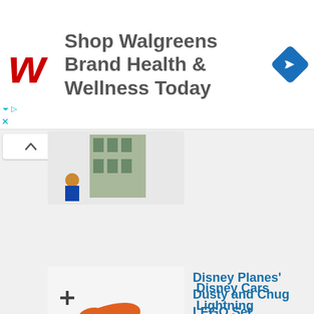[Figure (infographic): Walgreens advertisement banner: Shop Walgreens Brand Health & Wellness Today, with red Walgreens W logo and blue diamond navigation icon]
[Figure (photo): Partial product image of a LEGO set showing a building and minifigures]
Disney Planes’ Dusty and Chug LEGO Set
[Figure (photo): Disney Planes Dusty and Chug LEGO Set product image showing plane and car characters]
Disney Snow White’s Cottage LEGO Set
[Figure (photo): Disney Snow White's Cottage LEGO Set product image showing Snow White and cottage]
Disney Cars Lightning